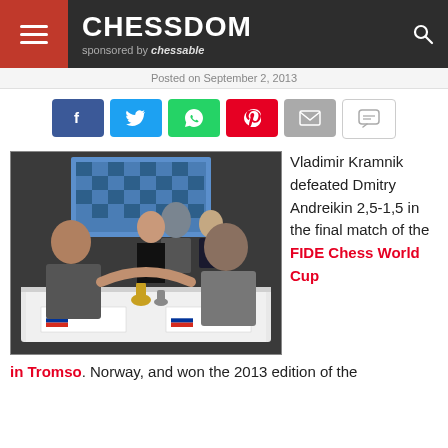CHESSDOM sponsored by chessable
Posted on September 2, 2013
[Figure (screenshot): Social media sharing buttons: Facebook, Twitter, WhatsApp, Pinterest, Email, Comment]
[Figure (photo): Chess players Vladimir Kramnik and Dmitry Andreikin shaking hands across a chess table at the FIDE Chess World Cup in Tromso]
Vladimir Kramnik defeated Dmitry Andreikin 2,5-1,5 in the final match of the FIDE Chess World Cup in Tromso. Norway, and won the 2013 edition of the